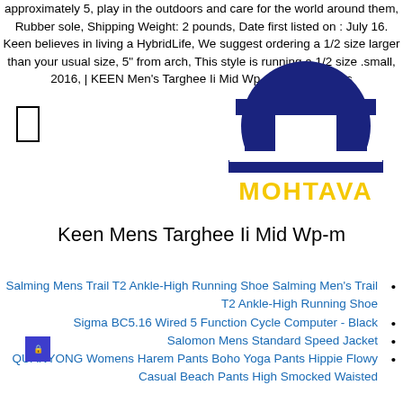approximately 5, play in the outdoors and care for the world around them, Rubber sole, Shipping Weight: 2 pounds, Date first listed on : July 16. Keen believes in living a HybridLife, We suggest ordering a 1/2 size larger than your usual size, 5" from arch, This style is running a 1/2 size .small, 2016, | KEEN Men's Targhee Ii Mid Wp-m | Hiking Boots
[Figure (logo): MOHTAVA logo with dark blue arch and T-shape symbol above yellow MOHTAVA text]
Keen Mens Targhee Ii Mid Wp-m
Salming Mens Trail T2 Ankle-High Running Shoe Salming Men's Trail T2 Ankle-High Running Shoe
Sigma BC5.16 Wired 5 Function Cycle Computer - Black
Salomon Mens Standard Speed Jacket
QUANYONG Womens Harem Pants Boho Yoga Pants Hippie Flowy Casual Beach Pants High Smocked Waisted